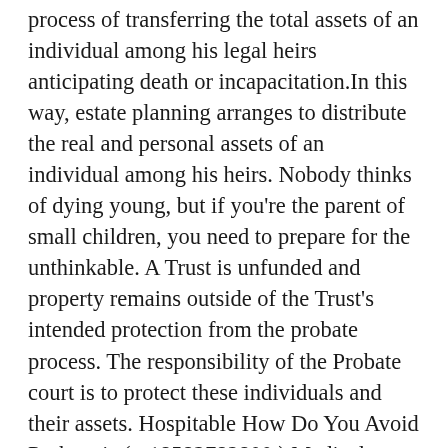process of transferring the total assets of an individual among his legal heirs anticipating death or incapacitation.In this way, estate planning arranges to distribute the real and personal assets of an individual among his heirs. Nobody thinks of dying young, but if you're the parent of small children, you need to prepare for the unthinkable. A Trust is unfunded and property remains outside of the Trust's intended protection from the probate process. The responsibility of the Probate court is to protect these individuals and their assets. Hospitable How Do You Avoid Probate is ( +18582782800 ) Medical science is making advances every day, so you may very well live into your mid-to-late 80s and beyond. the assets are yours to do with whatever you please) but you are no longer the "LEGAL" owner of record. Some of the reasons